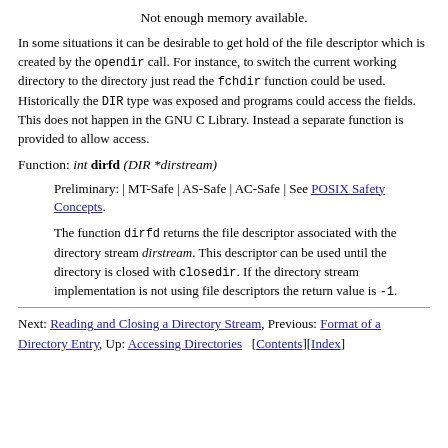Not enough memory available.
In some situations it can be desirable to get hold of the file descriptor which is created by the opendir call. For instance, to switch the current working directory to the directory just read the fchdir function could be used. Historically the DIR type was exposed and programs could access the fields. This does not happen in the GNU C Library. Instead a separate function is provided to allow access.
Function: int dirfd (DIR *dirstream)
Preliminary: | MT-Safe | AS-Safe | AC-Safe | See POSIX Safety Concepts.
The function dirfd returns the file descriptor associated with the directory stream dirstream. This descriptor can be used until the directory is closed with closedir. If the directory stream implementation is not using file descriptors the return value is -1.
Next: Reading and Closing a Directory Stream, Previous: Format of a Directory Entry, Up: Accessing Directories   [Contents][Index]